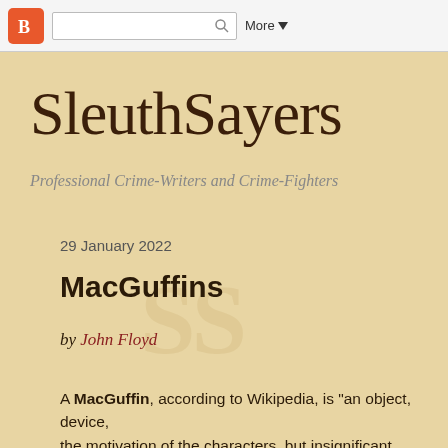Blogger navigation bar with search and More button
SleuthSayers
Professional Crime-Writers and Crime-Fighters
29 January 2022
MacGuffins
by John Floyd
A MacGuffin, according to Wikipedia, is "an object, device, the motivation of the characters, but insignificant, unimporta
I like that definition, and I like MacGuffins. I like them so mu